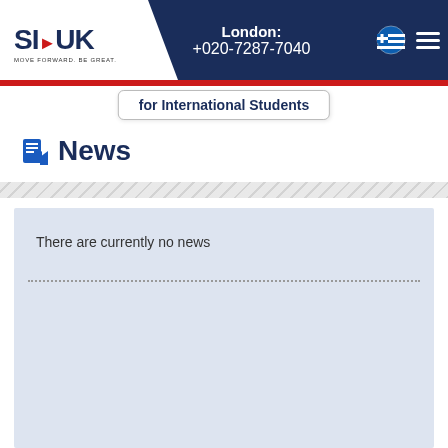SI-UK MOVE FORWARD. BE GREAT. | London: +020-7287-7040
for International Students
News
There are currently no news